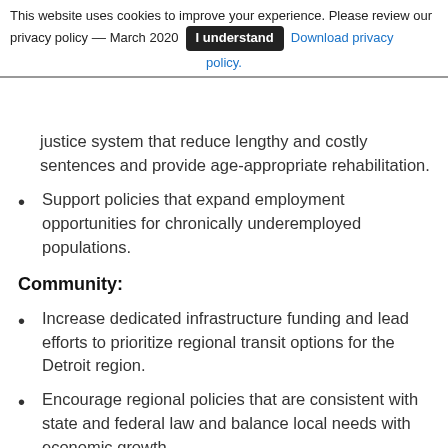This website uses cookies to improve your experience. Please review our privacy policy -- March 2020  [I understand]  Download privacy policy.
justice system that reduce lengthy and costly sentences and provide age-appropriate rehabilitation.
Support policies that expand employment opportunities for chronically underemployed populations.
Community:
Increase dedicated infrastructure funding and lead efforts to prioritize regional transit options for the Detroit region.
Encourage regional policies that are consistent with state and federal law and balance local needs with economic growth.
Promote policies that increase access to health insurance while opposing policies that